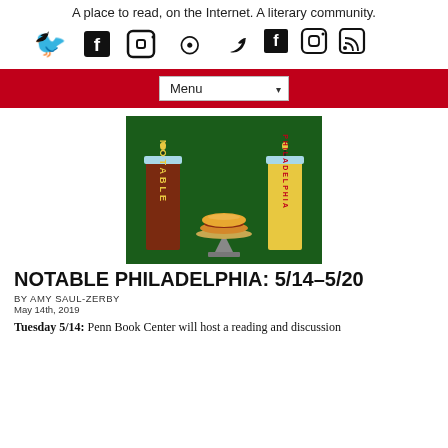A place to read, on the Internet. A literary community.
[Figure (illustration): Social media icons: Twitter bird, Facebook f, Instagram camera, RSS feed symbol]
[Figure (illustration): Navigation bar with red background and Menu dropdown]
[Figure (illustration): Green background illustration showing two candles labeled NOTABLE and PHILADELPHIA with a cheesesteak sandwich on a pedestal in between]
NOTABLE PHILADELPHIA: 5/14–5/20
BY AMY SAUL-ZERBY
May 14th, 2019
Tuesday 5/14: Penn Book Center will host a reading and discussion